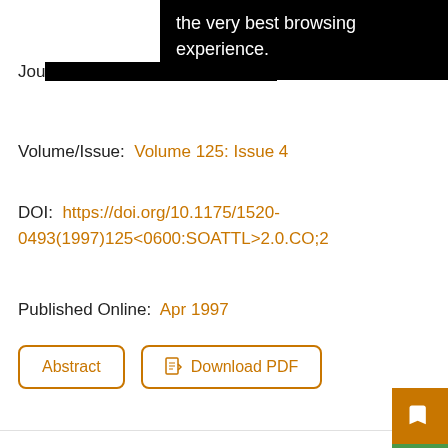the very best browsing experience.
Volume/Issue: Volume 125: Issue 4
DOI: https://doi.org/10.1175/1520-0493(1997)125<0600:SOATTL>2.0.CO;2
Published Online: Apr 1997
Abstract
Download PDF
Reply
A.J. Simmons and B.J. Hoskins
Abstract
No abstract.